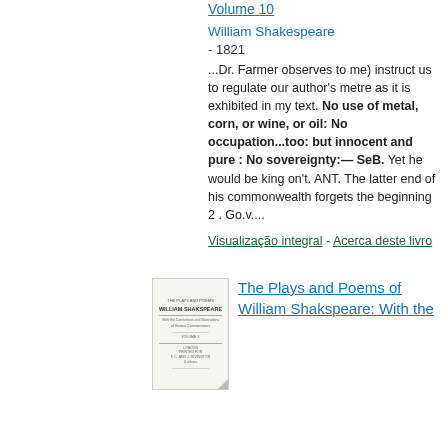...Dr. Farmer observes to me) instruct us to regulate our author's metre as it is exhibited in my text. No use of metal, corn, or wine, or oil: No occupation...too: but innocent and pure : No sovereignty:— SeB. Yet he would be king on't. ANT. The latter end of his commonwealth forgets the beginning 2 . Go.v....
William Shakespeare - 1821
Visualização integral - Acerca deste livro
[Figure (illustration): Small thumbnail of a book cover for The Plays and Poems of William Shakspeare]
The Plays and Poems of William Shakspeare: With the